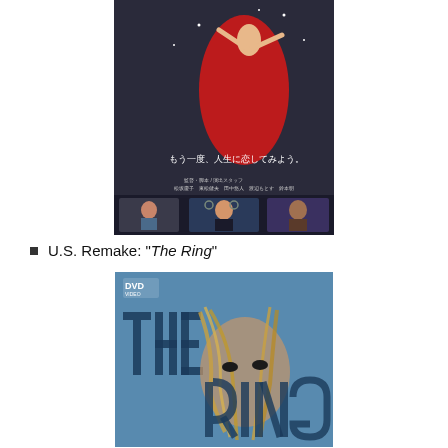[Figure (photo): Japanese movie poster featuring a woman in a red dress floating/dancing, with Japanese text reading 'もう一度、人生に恋してみよう。' and smaller scenes at the bottom showing people on a train.]
U.S. Remake: "The Ring"
[Figure (photo): DVD cover for 'The Ring' showing large stylized text 'THE RING' with a close-up of a woman's face with hair partially covering it, on a blue background with a DVD logo in the top left corner.]